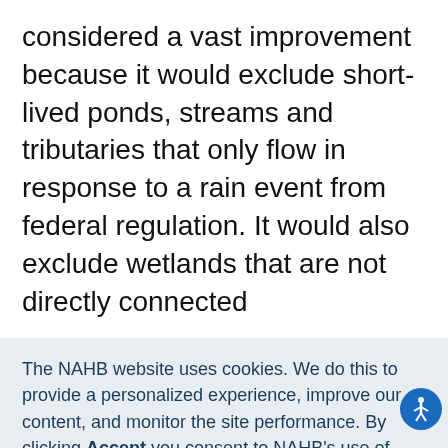considered a vast improvement because it would exclude short-lived ponds, streams and tributaries that only flow in response to a rain event from federal regulation. It would also exclude wetlands that are not directly connected
The NAHB website uses cookies. We do this to provide a personalized experience, improve our content, and monitor the site performance. By clicking Accept you consent to NAHB's use of cookies in accordance with its Privacy Policy. To learn more and control what cookies are used, go to Manage Cookies.
ACCEPT